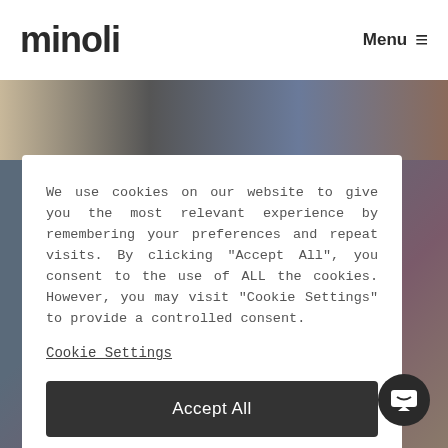minoli   Menu ≡
[Figure (photo): Background photo strip showing people, partially visible at top]
[Figure (photo): Background photo showing people, partially visible behind cookie dialog]
We use cookies on our website to give you the most relevant experience by remembering your preferences and repeat visits. By clicking "Accept All", you consent to the use of ALL the cookies. However, you may visit "Cookie Settings" to provide a controlled consent.
Cookie Settings
Accept All